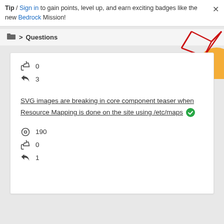Tip / Sign in to gain points, level up, and earn exciting badges like the new Bedrock Mission! ×
🗂 > Questions
[Figure (illustration): Decorative geometric graphic with red lines forming a diamond/polygon shape and an orange circle, partially visible in top-right corner]
👍 0
↩ 3
SVG images are breaking in core component teaser when Resource Mapping is done on the site using /etc/maps ✅
👁 190
👍 0
↩ 1